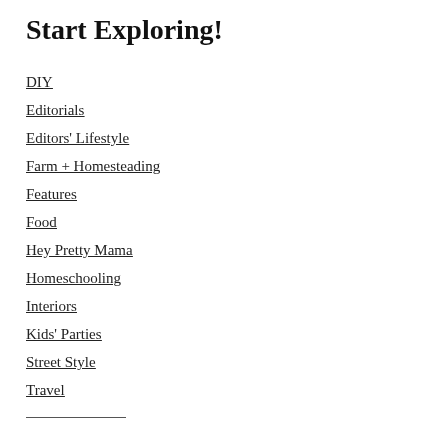Start Exploring!
DIY
Editorials
Editors' Lifestyle
Farm + Homesteading
Features
Food
Hey Pretty Mama
Homeschooling
Interiors
Kids' Parties
Street Style
Travel